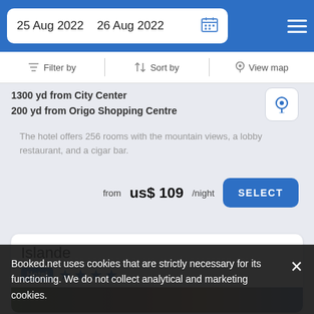25 Aug 2022  26 Aug 2022
Filter by   Sort by   View map
1300 yd from City Center
200 yd from Origo Shopping Centre
The hotel offers 256 rooms with the mountain views, a lobby restaurant, and a cigar bar.
from us$ 109/night
Islande
Hotel ★★★★
Booked.net uses cookies that are strictly necessary for its functioning. We do not collect analytical and marketing cookies.